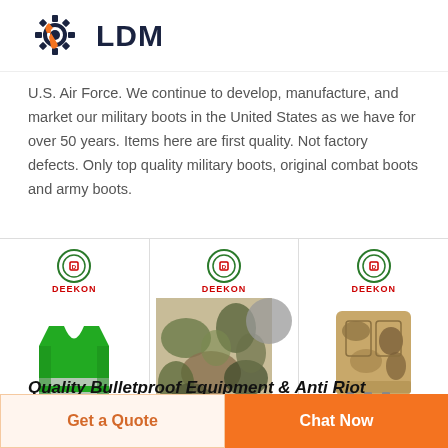[Figure (logo): LDM brand logo with gear/wrench icon in dark navy and orange, text 'LDM' in bold dark navy]
U.S. Air Force. We continue to develop, manufacture, and market our military boots in the United States as we have for over 50 years. Items here are first quality. Not factory defects. Only top quality military boots, original combat boots and army boots.
[Figure (photo): Three product images side by side: a green high-visibility safety vest, camouflage fabric with circle overlay, and a tan tactical/bulletproof vest. Each has a DEEKON brand badge at top.]
Quality Bulletproof Equipment & Anti Riot Equipment ...
Get a Quote
Chat Now